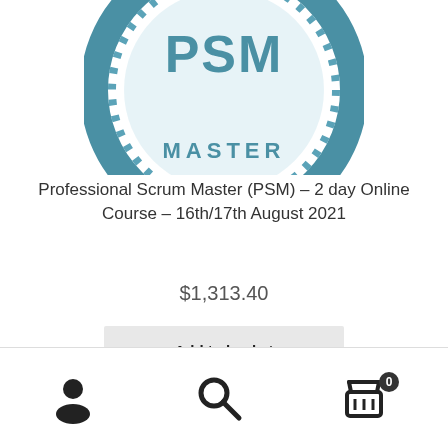[Figure (logo): PSM Professional Scrum Master circular badge/logo with teal blue coloring showing 'PSM' text at top and 'MASTER' text at bottom, with decorative circular border elements]
Professional Scrum Master (PSM) – 2 day Online Course – 16th/17th August 2021
$1,313.40
Add to basket